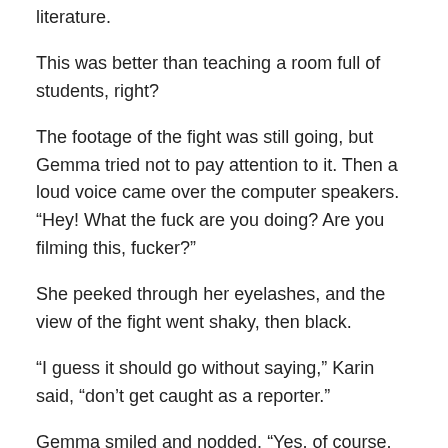literature.
This was better than teaching a room full of students, right?
The footage of the fight was still going, but Gemma tried not to pay attention to it. Then a loud voice came over the computer speakers. “Hey! What the fuck are you doing? Are you filming this, fucker?”
She peeked through her eyelashes, and the view of the fight went shaky, then black.
“I guess it should go without saying,” Karin said, “don’t get caught as a reporter.”
Gemma smiled and nodded. “Yes, of course. I’ll head out, um…”
“Now, would be good,” Karin said helpfully.